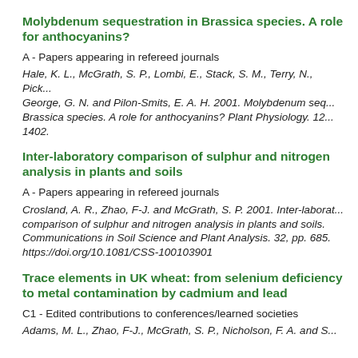Molybdenum sequestration in Brassica species. A role for anthocyanins?
A - Papers appearing in refereed journals
Hale, K. L., McGrath, S. P., Lombi, E., Stack, S. M., Terry, N., Pickering, I. J., George, G. N. and Pilon-Smits, E. A. H. 2001. Molybdenum sequestration in Brassica species. A role for anthocyanins? Plant Physiology. 126, pp. 1391-1402.
Inter-laboratory comparison of sulphur and nitrogen analysis in plants and soils
A - Papers appearing in refereed journals
Crosland, A. R., Zhao, F-J. and McGrath, S. P. 2001. Inter-laboratory comparison of sulphur and nitrogen analysis in plants and soils. Communications in Soil Science and Plant Analysis. 32, pp. 685. https://doi.org/10.1081/CSS-100103901
Trace elements in UK wheat: from selenium deficiency to metal contamination by cadmium and lead
C1 - Edited contributions to conferences/learned societies
Adams, M. L., Zhao, F-J., McGrath, S. P., Nicholson, F. A. and S...